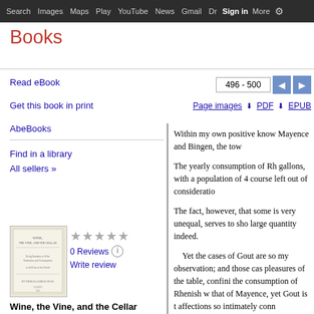Search Images Maps Play YouTube News Gmail Drive More Sign in
Books
Read eBook
Get this book in print
AbeBooks
Find in a library
All sellers »
[Figure (illustration): Book thumbnail cover for Wine, the Vine, and the Cellar]
★★★★★ 0 Reviews Write review
Wine, the Vine, and the Cellar
496 - 500
Page images   PDF   EPUB
Within my own positive know Mayence and Bingen, the tow The yearly consumption of Rh gallons, with a population of 4 course left out of consideratio The fact, however, that some is very unequal, serves to sho large quantity indeed. Yet the cases of Gout are so my observation; and those cas pleasures of the table, confini the consumption of Rhenish w that of Mayence, yet Gout is t affections so intimately conn